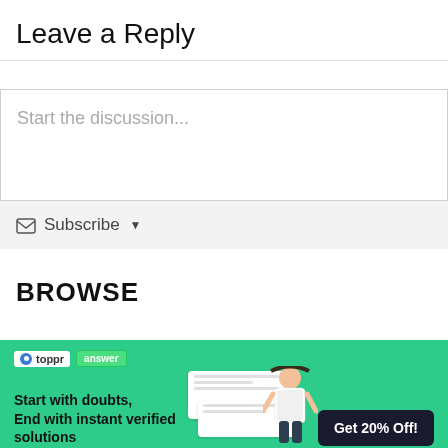Leave a Reply
Start the discussion...
✉ Subscribe ▾
BROWSE
[Figure (infographic): Toppr Answer advertisement banner with green background. Contains Toppr logo with 'answer' badge, math problem whiteboard cards, a student girl illustration, text 'Start with doubts, End with instant verified solutions', and a dark 'Get 20% Off!' button.]